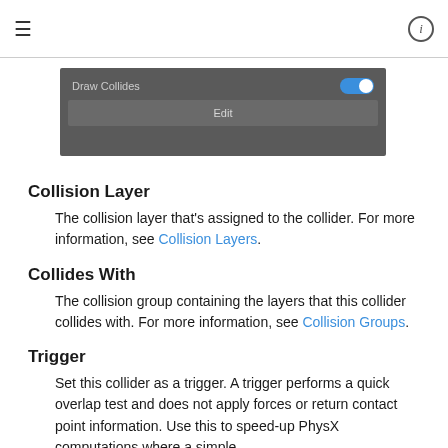≡  ⓘ
[Figure (screenshot): UI panel showing 'Draw Collides' toggle (enabled/blue) and an 'Edit' button on a dark grey background]
Collision Layer
The collision layer that's assigned to the collider. For more information, see Collision Layers.
Collides With
The collision group containing the layers that this collider collides with. For more information, see Collision Groups.
Trigger
Set this collider as a trigger. A trigger performs a quick overlap test and does not apply forces or return contact point information. Use this to speed-up PhysX computations where a simple